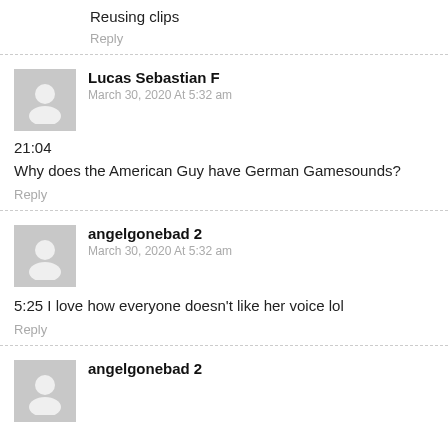Reusing clips
Reply
Lucas Sebastian F
March 30, 2020 At 5:32 am
21:04
Why does the American Guy have German Gamesounds?
Reply
angelgonebad 2
March 30, 2020 At 5:32 am
5:25 I love how everyone doesn't like her voice lol
Reply
angelgonebad 2